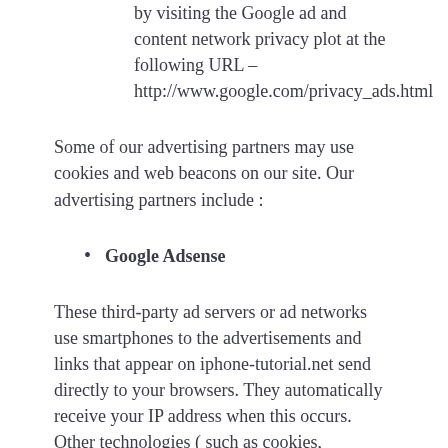by visiting the Google ad and content network privacy plot at the following URL – http://www.google.com/privacy_ads.html
Some of our advertising partners may use cookies and web beacons on our site. Our advertising partners include :
Google Adsense
These third-party ad servers or ad networks use smartphones to the advertisements and links that appear on iphone-tutorial.net send directly to your browsers. They automatically receive your IP address when this occurs. Other technologies ( such as cookies, JavaScript, or Web Beacons ) may also be used by the